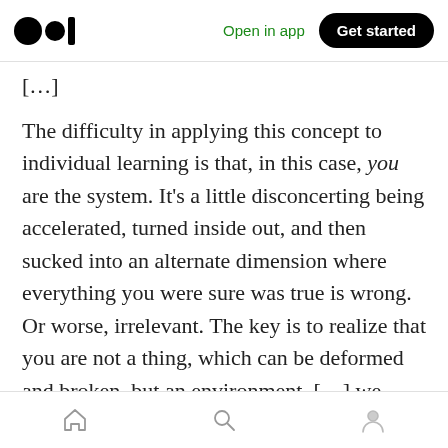Open in app  Get started
[…]
The difficulty in applying this concept to individual learning is that, in this case, you are the system. It's a little disconcerting being accelerated, turned inside out, and then sucked into an alternate dimension where everything you were sure was true is wrong. Or worse, irrelevant. The key is to realize that you are not a thing, which can be deformed and broken, but an environment. […] we have to design our mental environment to maximize the throughput of invalidated assumptions, accelerating it to the
Home  Search  Profile